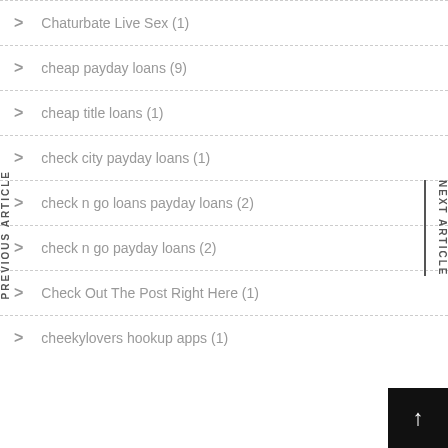Chaturbate Live Sex (1)
cheap payday loans (9)
cheap title loans (1)
check city payday loans (1)
check n go loans payday loans (2)
check n go payday loans (2)
Check Out The Post Right Here (1)
cheekylovers hookup apps (1)